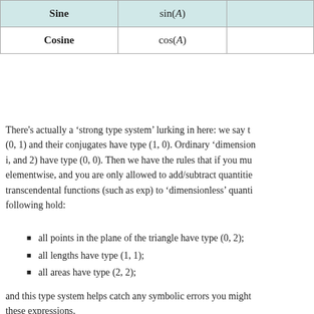|  |  |  |
| --- | --- | --- |
| Sine | sin(A) |  |
| Cosine | cos(A) |  |
There's actually a 'strong type system' lurking in here: we say that (0, 1) and their conjugates have type (1, 0). Ordinary 'dimensionless' quantities (like i, and 2) have type (0, 0). Then we have the rules that if you multiply types elementwise, and you are only allowed to add/subtract quantities of the same type, apply transcendental functions (such as exp) to 'dimensionless' quantities only, the following hold:
all points in the plane of the triangle have type (0, 2);
all lengths have type (1, 1);
all areas have type (2, 2);
and this type system helps catch any symbolic errors you might make in these expressions.